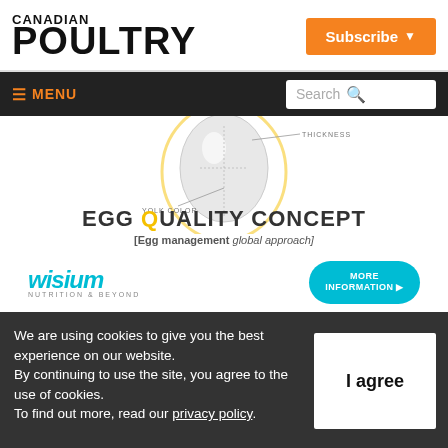CANADIAN POULTRY
[Figure (logo): Canadian Poultry magazine logo with Subscribe button]
[Figure (infographic): Navigation bar with MENU and Search]
[Figure (illustration): Wisium Egg Quality Concept advertisement banner showing an egg diagram with YOLK COLOR and THICKNESS labels, EGG QUALITY CONCEPT headline, [Egg management global approach] subtitle, Wisium logo and MORE INFORMATION button]
We are using cookies to give you the best experience on our website. By continuing to use the site, you agree to the use of cookies. To find out more, read our privacy policy.